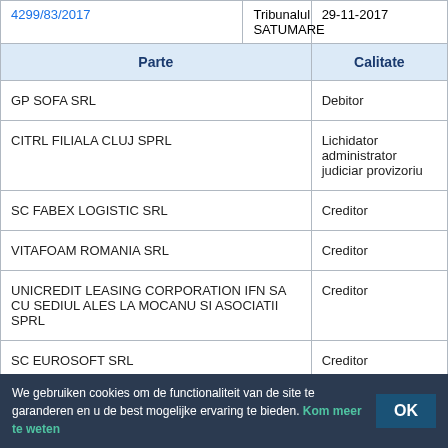| Parte | Calitate |
| --- | --- |
| 4299/83/2017 | Tribunalul SATUMARE | 29-11-2017 |
| GP SOFA SRL | Debitor |
| CITRL FILIALA CLUJ SPRL | Lichidator administrator judiciar provizoriu |
| SC FABEX LOGISTIC SRL | Creditor |
| VITAFOAM ROMANIA SRL | Creditor |
| UNICREDIT LEASING CORPORATION IFN SA CU SEDIUL ALES LA MOCANU SI ASOCIATII SPRL | Creditor |
| SC EUROSOFT SRL | Creditor |
| SC DUO PRECOMET SRL | Creditor |
| SC EXECUTIV TRADING SRL - CU SEDIUL ALES CAB.AV. MUREȘAN SILAGHI FELICIA - CRISTINA | Creditor |
| SC SELCAR INTERNATIONAL SRL CU SEDIUL ALES | Creditor |
We gebruiken cookies om de functionaliteit van de site te garanderen en u de best mogelijke ervaring te bieden. Kom meer te weten